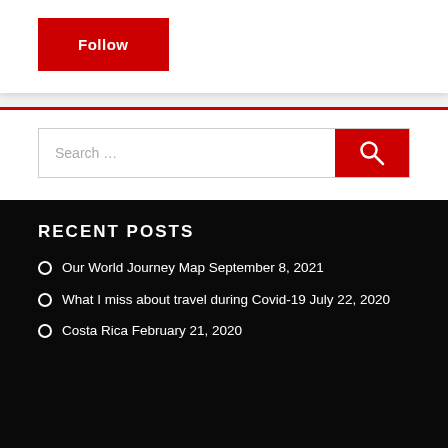Follow
RECENT POSTS
Our World Journey Map September 8, 2021
What I miss about travel during Covid-19 July 22, 2020
Costa Rica February 21, 2020